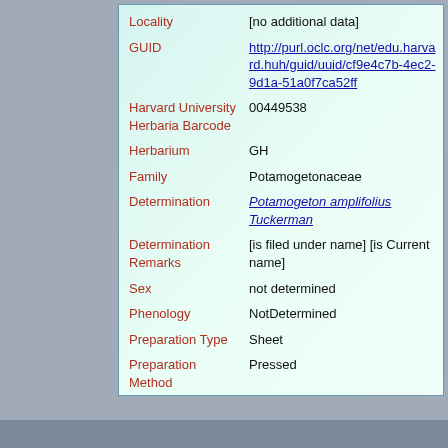| Field | Value |
| --- | --- |
| Locality | [no additional data] |
| GUID | http://purl.oclc.org/net/edu.harvard.huh/guid/uuid/cf9...4c7b-4ec2-9d1a-51a0f7ca52ff |
| Harvard University Herbaria Barcode | 00449538 |
| Herbarium | GH |
| Family | Potamogetonaceae |
| Determination | Potamogeton amplifolius Tuckerman |
| Determination Remarks | [is filed under name] [is Current name] |
| Sex | not determined |
| Phenology | NotDetermined |
| Preparation Type | Sheet |
| Preparation Method | Pressed |